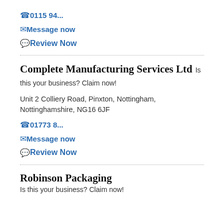📞 0115 94...
✉ Message now
💬 Review Now
Complete Manufacturing Services Ltd
Is this your business? Claim now!
Unit 2 Colliery Road, Pinxton, Nottingham, Nottinghamshire, NG16 6JF
📞 01773 8...
✉ Message now
💬 Review Now
Robinson Packaging
Is this your business? Claim now!